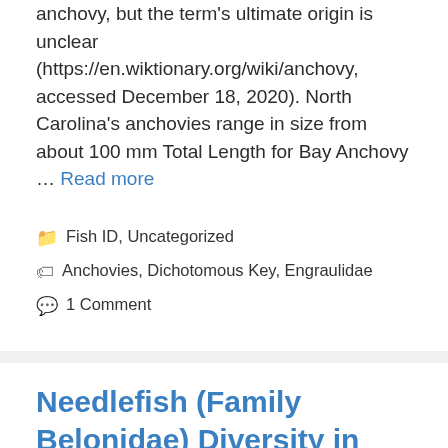anchovy, but the term's ultimate origin is unclear (https://en.wiktionary.org/wiki/anchovy, accessed December 18, 2020). North Carolina's anchovies range in size from about 100 mm Total Length for Bay Anchovy … Read more
Categories: Fish ID, Uncategorized
Tags: Anchovies, Dichotomous Key, Engraulidae
1 Comment
Needlefish (Family Belonidae) Diversity in North Carolina
May 24, 2021 by Bryn Tracy